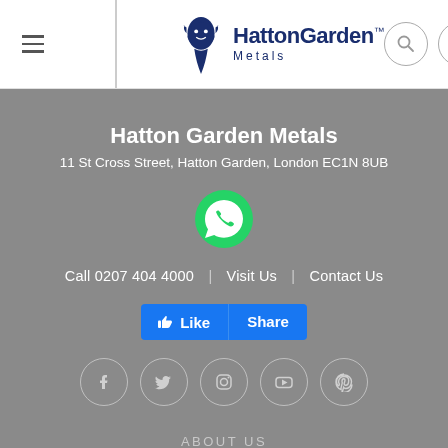[Figure (logo): Hatton Garden Metals logo with lion head icon and brand name]
Hatton Garden Metals
11 St Cross Street, Hatton Garden, London EC1N 8UB
[Figure (logo): WhatsApp green phone icon]
Call 0207 404 4000 | Visit Us | Contact Us
[Figure (infographic): Facebook Like and Share buttons]
[Figure (infographic): Social media icons: Facebook, Twitter, Instagram, YouTube, Pinterest]
ABOUT US